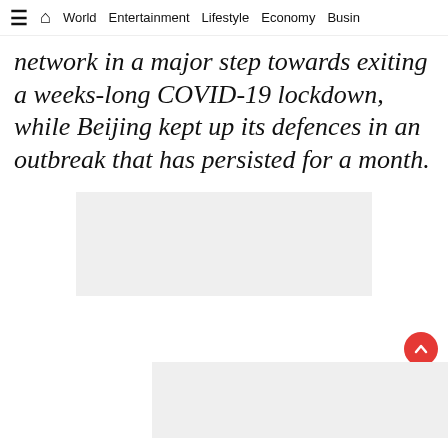≡  🏠  World  Entertainment  Lifestyle  Economy  Busin…
network in a major step towards exiting a weeks-long COVID-19 lockdown, while Beijing kept up its defences in an outbreak that has persisted for a month.
[Figure (other): Light grey advertisement placeholder block]
[Figure (other): Light grey advertisement placeholder block at bottom]